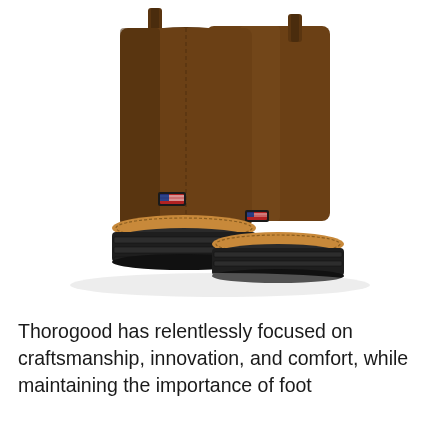[Figure (photo): A pair of brown leather pull-on work boots (Thorogood brand) with tall shafts, visible stitching, a small American flag logo patch on the side, and thick black lug soles with a tan welt, photographed against a white background.]
Thorogood has relentlessly focused on craftsmanship, innovation, and comfort, while maintaining the importance of foot...